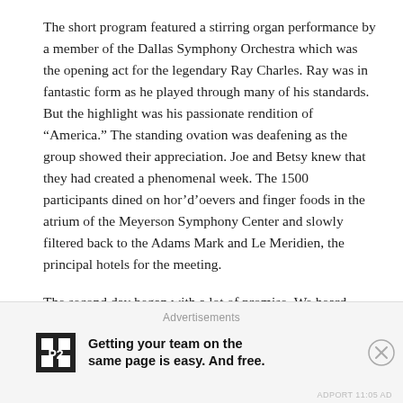The short program featured a stirring organ performance by a member of the Dallas Symphony Orchestra which was the opening act for the legendary Ray Charles. Ray was in fantastic form as he played through many of his standards. But the highlight was his passionate rendition of “America.” The standing ovation was deafening as the group showed their appreciation. Joe and Betsy knew that they had created a phenomenal week. The 1500 participants dined on hor’d’oevers and finger foods in the atrium of the Meyerson Symphony Center and slowly filtered back to the Adams Mark and Le Meridien, the principal hotels for the meeting.
The second day began with a lot of promise. We heard people talking about how great Ray Charles was the night before. Many stated their disbelief that we would bring Ray Charles to such a meeting. There were numerous conversations inquiring about his
Advertisements
[Figure (logo): P2 logo with grid icon and bold text: Getting your team on the same page is easy. And free.]